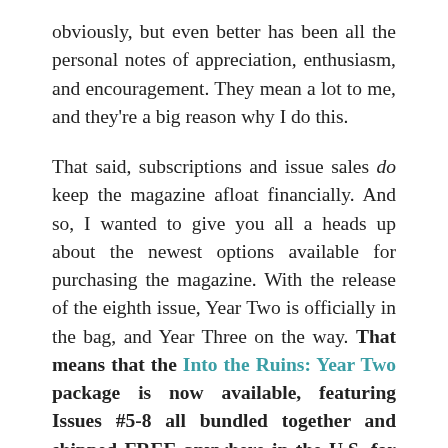obviously, but even better has been all the personal notes of appreciation, enthusiasm, and encouragement. They mean a lot to me, and they're a big reason why I do this.

That said, subscriptions and issue sales do keep the magazine afloat financially. And so, I wanted to give you all a heads up about the newest options available for purchasing the magazine. With the release of the eighth issue, Year Two is officially in the bag, and Year Three on the way. That means that the Into the Ruins: Year Two package is now available, featuring Issues #5-8 all bundled together and shipped FREE anywhere in the U.S. for just $43. This goes hand in hand with the Into the Ruins: Year One package of Issues #1-4 available for the same price. Both packages ship immediately